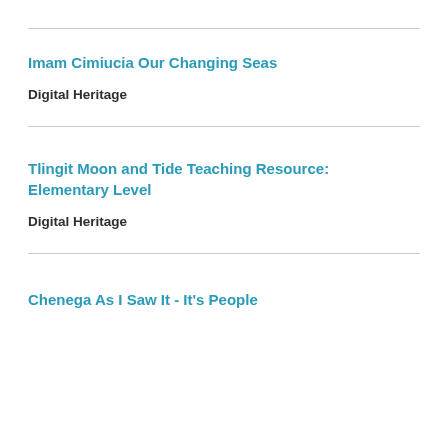Imam Cimiucia Our Changing Seas
Digital Heritage
Tlingit Moon and Tide Teaching Resource: Elementary Level
Digital Heritage
Chenega As I Saw It - It's People